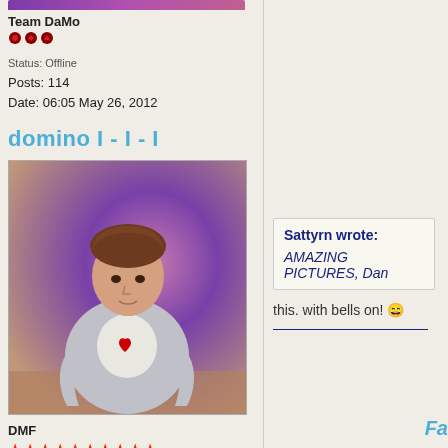[Figure (screenshot): Top purple/magenta gradient bar at top of left column, partially cut off]
Team DaMo
[Figure (illustration): Three small red/dark circular rank icons]
Status: Offline
Posts: 114
Date: 06:05 May 26, 2012
domino I - I - I
[Figure (photo): Photo of a young man with messy brown hair wearing a grey jacket over a white t-shirt with a red heart logo, standing in front of a purple/pink background]
DMF
[Figure (illustration): Ten red star rating icons]
Status: Offline
Posts: 16347
Date: 20:03 May 26, 2012
Sattyrn wrote:
AMAZING PICTURES, Dan
this. with bells on! 😄
Fa